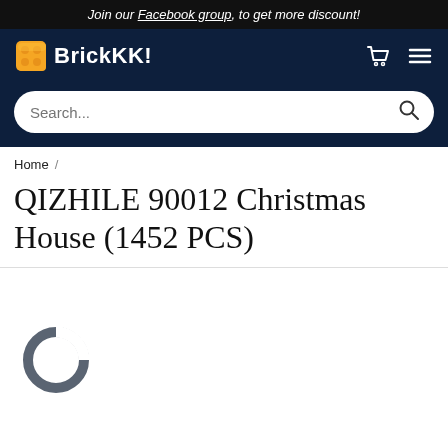Join our Facebook group, to get more discount!
BrickKK!
Search...
Home /
QIZHILE 90012 Christmas House (1452 PCS)
[Figure (other): Loading spinner / circular progress indicator icon in dark gray]